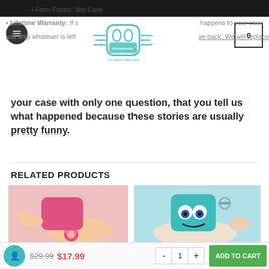iAccessories store header with menu, logo, and cart icon showing 0
• Form Factor: Slip Case
Lifetime Warranty: If something happens to your case just ship whatever is left of your case back. We will replace your case with only one question, that you tell us what happened because these stories are usually pretty funny.
RELATED PRODUCTS
[Figure (photo): Hand holding a pink Lotso bear AirPods case with keychain charm]
[Figure (photo): Hand holding a blue Sulley monsters inc AirPods case with carabiner]
ADD TO CART $29.99 $17.99 quantity 1